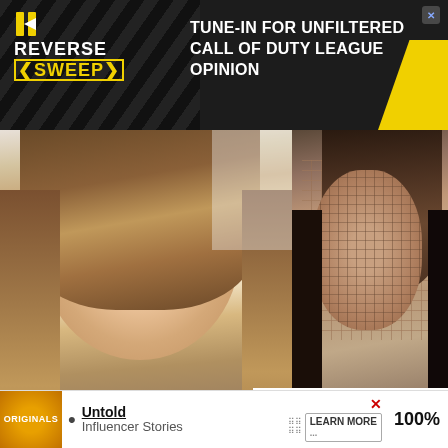[Figure (screenshot): Advertisement banner for 'Reverse Sweep' podcast/show with text 'TUNE-IN FOR UNFILTERED CALL OF DUTY LEAGUE OPINION' on dark background with yellow accents]
[Figure (photo): Two women side by side with TikTok logo overlay. Left: Jenna Marbles (YouTuber) with long brown hair. Right: pixelated/blurred face of a TikToker with long dark hair. Caption bar reads 'YOUTUBE: JENNA MARBLES / TIKTO']
[Figure (screenshot): Minecraft advertisement overlay in bottom right showing Minecraft logo, characters, and 'MINECRAFT!' text]
A TikToker has garnered atte… sharing app for having a strik… YouTu… convin…
[Figure (screenshot): Bottom advertisement bar featuring 'Originals' logo, 'Untold Influencer Stories', 'LEARN MORE' button, and '100%' text with X close button]